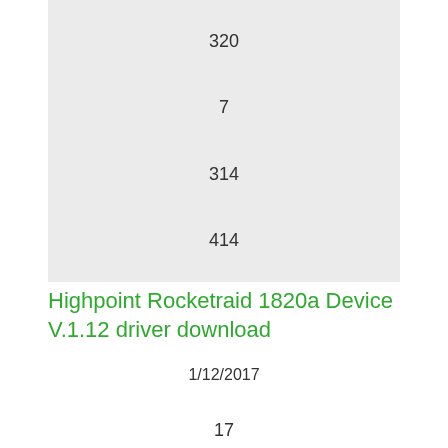[Figure (other): Gray box containing numbers: partial number at top (partially cut off, appears to be 320 or similar), then 7, then 314, then 414]
Highpoint Rocketraid 1820a Device V.1.12 driver download
1/12/2017
17